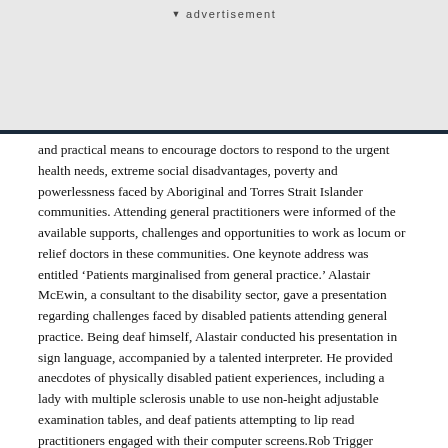advertisement
and practical means to encourage doctors to respond to the urgent health needs, extreme social disadvantages, poverty and powerlessness faced by Aboriginal and Torres Strait Islander communities. Attending general practitioners were informed of the available supports, challenges and opportunities to work as locum or relief doctors in these communities. One keynote address was entitled 'Patients marginalised from general practice.' Alastair McEwin, a consultant to the disability sector, gave a presentation regarding challenges faced by disabled patients attending general practice. Being deaf himself, Alastair conducted his presentation in sign language, accompanied by a talented interpreter. He provided anecdotes of physically disabled patient experiences, including a lady with multiple sclerosis unable to use non-height adjustable examination tables, and deaf patients attempting to lip read practitioners engaged with their computer screens.Rob Trigger followed with a video portraying a homeless adolescent's interaction with general practice. The audience was offered an insight into the fears and attitudes of troubled adolescents who find it difficult to trust doctors. Father Chris Riley concluded the session